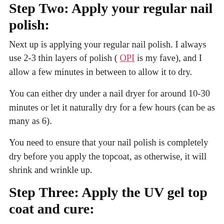Step Two: Apply your regular nail polish:
Next up is applying your regular nail polish. I always use 2-3 thin layers of polish ( OPI is my fave), and I allow a few minutes in between to allow it to dry.
You can either dry under a nail dryer for around 10-30 minutes or let it naturally dry for a few hours (can be as many as 6).
You need to ensure that your nail polish is completely dry before you apply the topcoat, as otherwise, it will shrink and wrinkle up.
Step Three: Apply the UV gel top coat and cure: